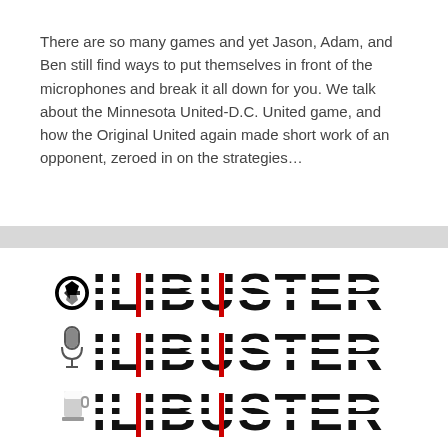There are so many games and yet Jason, Adam, and Ben still find ways to put themselves in front of the microphones and break it all down for you. We talk about the Minnesota United-D.C. United game, and how the Original United again made short work of an opponent, zeroed in on the strategies…
[Figure (logo): FILIBUSTER logo repeated three times in large bold stylized text with horizontal stripe cut-through effect. The F in each line is replaced by an icon: soccer ball, microphone, and beer glass respectively. Red accent bars between letters. Black text on white background.]